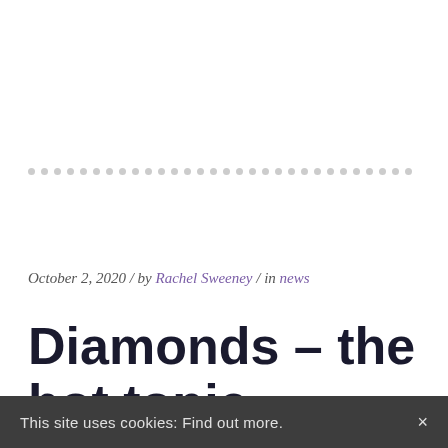[Figure (other): Dotted horizontal divider line made of small grey circles]
October 2, 2020 / by Rachel Sweeney / in news
Diamonds – the hot topic
This site uses cookies: Find out more. ×